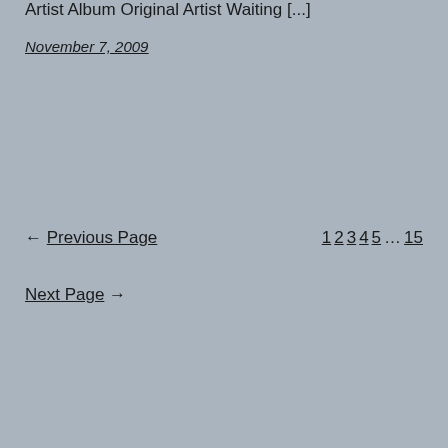Artist Album Original Artist Waiting [...]
November 7, 2009
← Previous Page   1 2 3 4 5 … 15
Next Page →